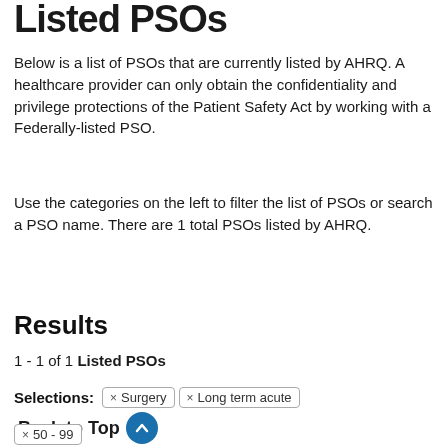Listed PSOs
Below is a list of PSOs that are currently listed by AHRQ. A healthcare provider can only obtain the confidentiality and privilege protections of the Patient Safety Act by working with a Federally-listed PSO.
Use the categories on the left to filter the list of PSOs or search a PSO name. There are 1 total PSOs listed by AHRQ.
Results
1 - 1 of 1 Listed PSOs
Selections: × Surgery × Long term acute × 50 - 99